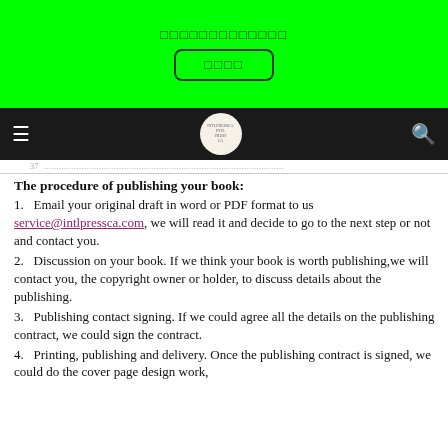[Figure (screenshot): Green banner with garbled text and a button with garbled label]
[Figure (screenshot): Dark navigation bar with hamburger menu, circular logo, and search icon]
37 ................................................................
The procedure of publishing your book:
1.   Email your original draft in word or PDF format to us service@intlpressca.com, we will read it and decide to go to the next step or not and contact you.
2.   Discussion on your book. If we think your book is worth publishing,we will contact you, the copyright owner or holder, to discuss details about the publishing.
3.   Publishing contact signing. If we could agree all the details on the publishing contract, we could sign the contract.
4.   Printing, publishing and delivery. Once the publishing contract is signed, we could do the cover page design work,